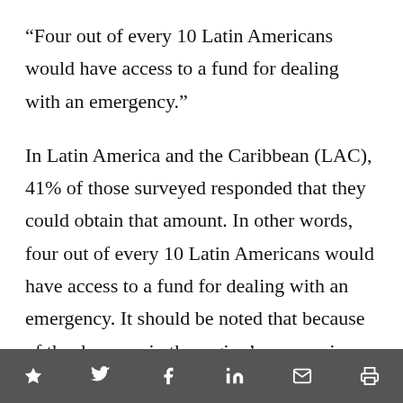“Four out of every 10 Latin Americans would have access to a fund for dealing with an emergency.”
In Latin America and the Caribbean (LAC), 41% of those surveyed responded that they could obtain that amount. In other words, four out of every 10 Latin Americans would have access to a fund for dealing with an emergency. It should be noted that because of the decrease in the region’s economic
Social share icons: star, twitter, facebook, linkedin, email, print